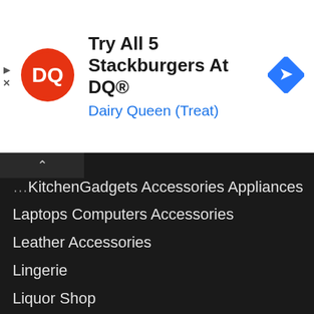[Figure (advertisement): Dairy Queen ad banner with DQ logo, text 'Try All 5 Stackburgers At DQ®' and 'Dairy Queen (Treat)', with navigation arrow icon]
KitchenGadgets Accessories Appliances
Laptops Computers Accessories
Leather Accessories
Lingerie
Liquor Shop
Luggage
Medical Dental
Mens Apparel Accessories
Mobile Phones Accessories
Multiplex
Musical Instruments